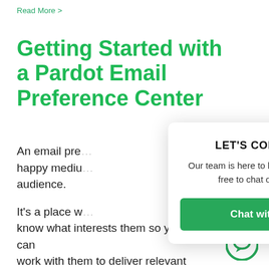Read More >
Getting Started with a Pardot Email Preference Center
An email pre… happy mediu… audience.

It's a place w… know what interests them so you can work with them to deliver relevant content. And it also fulfills that all-
[Figure (other): A chat popup dialog with title 'LET'S CONNECT', body text 'Our team is here to help. Please feel free to chat or call us!', a green 'Chat with us' button, and a close (×) button in the top-right corner. A green circle chat bubble icon appears in the bottom-right of the page.]